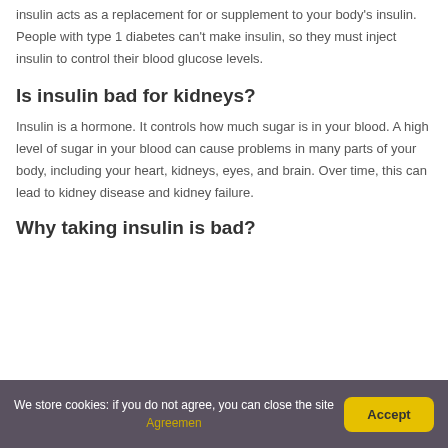insulin acts as a replacement for or supplement to your body's insulin. People with type 1 diabetes can't make insulin, so they must inject insulin to control their blood glucose levels.
Is insulin bad for kidneys?
Insulin is a hormone. It controls how much sugar is in your blood. A high level of sugar in your blood can cause problems in many parts of your body, including your heart, kidneys, eyes, and brain. Over time, this can lead to kidney disease and kidney failure.
Why taking insulin is bad?
We store cookies: if you do not agree, you can close the site Agreemen